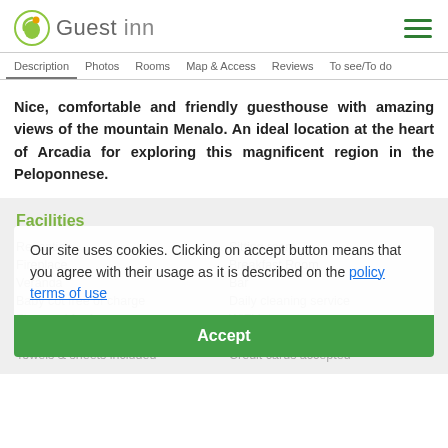Guest Inn
Description  Photos  Rooms  Map & Access  Reviews  To see/To do
Nice, comfortable and friendly guesthouse with amazing views of the mountain Menalo. An ideal location at the heart of Arcadia for exploring this magnificent region in the Peloponnese.
Facilities
Reception
Sitting room
Fireplace
Breakfast Room
Veranda
Bar
Baby cot free of charge
Daily cleaning service
Firewood for free
WiFi Internet access
Private parking
Vehicle recommended
Towels & sheets included
Credit cards accepted
Our site uses cookies. Clicking on accept button means that you agree with their usage as it is described on the policy terms of use
Accept